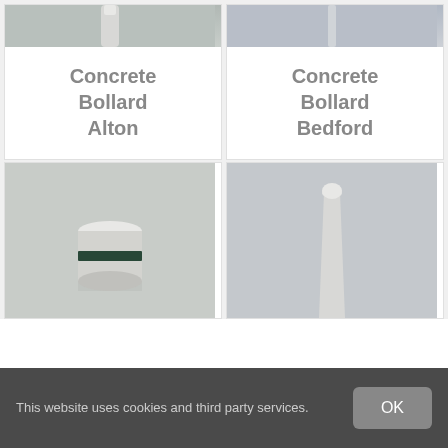[Figure (photo): Photo of a concrete bollard Alton product - top portion showing a pillar/post on grey background]
Concrete Bollard Alton
[Figure (photo): Photo of a concrete bollard Bedford product - top portion showing a thin post/pillar on grey background]
Concrete Bollard Bedford
[Figure (photo): Photo of a short cylindrical concrete bollard with a dark band around its middle, speckled light grey texture]
[Figure (photo): Photo of a tall tapered concrete bollard with rounded top on a grey background]
This website uses cookies and third party services.